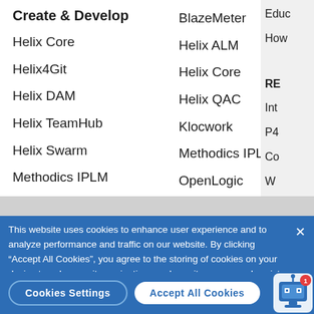Create & Develop
Helix Core
Helix4Git
Helix DAM
Helix TeamHub
Helix Swarm
Methodics IPLM
BlazeMeter
Helix ALM
Helix Core
Helix QAC
Klocwork
Methodics IPLM
OpenLogic
This website uses cookies to enhance user experience and to analyze performance and traffic on our website. By clicking “Accept All Cookies”, you agree to the storing of cookies on your device to enhance site navigation, analyze site usage, and assist in our marketing efforts.
Cookies Settings
Accept All Cookies